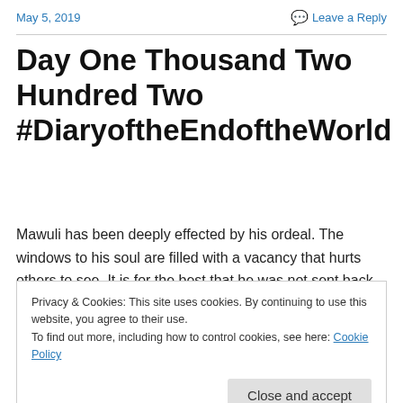May 5, 2019    Leave a Reply
Day One Thousand Two Hundred Two #DiaryoftheEndoftheWorld
Mawuli has been deeply effected by his ordeal. The windows to his soul are filled with a vacancy that hurts others to see. It is for the best that he was not sent back to his parents in the hiding place. For now...
Privacy & Cookies: This site uses cookies. By continuing to use this website, you agree to their use.
To find out more, including how to control cookies, see here: Cookie Policy
[Close and accept]
circumstances.